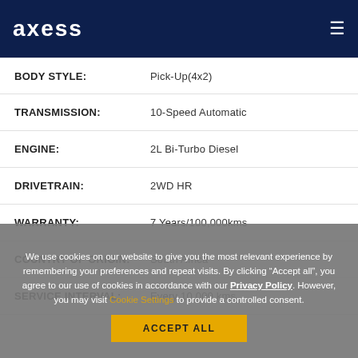axcess
| Field | Value |
| --- | --- |
| BODY STYLE: | Pick-Up(4x2) |
| TRANSMISSION: | 10-Speed Automatic |
| ENGINE: | 2L Bi-Turbo Diesel |
| DRIVETRAIN: | 2WD HR |
| WARRANTY: | 7 Years/100,000kms |
| COUNTRY OF ORIGIN: | South Africa |
| SERVICE INTERVAL: | Every 10,000 kms |
We use cookies on our website to give you the most relevant experience by remembering your preferences and repeat visits. By clicking "Accept all", you agree to our use of cookies in accordance with our Privacy Policy. However, you may visit Cookie Settings to provide a controlled consent.